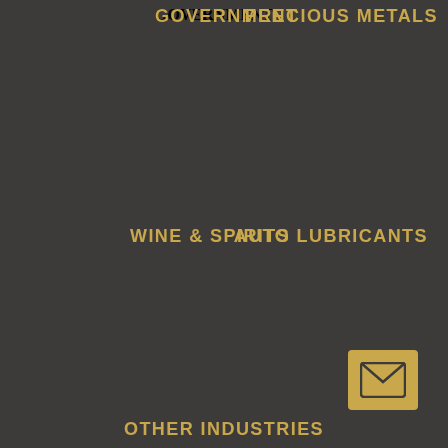GOVERNMENT
PRECIOUS METALS
WINE & SPIRITS
AUTO LUBRICANTS
[Figure (other): Email envelope icon button with gold background]
OTHER INDUSTRIES